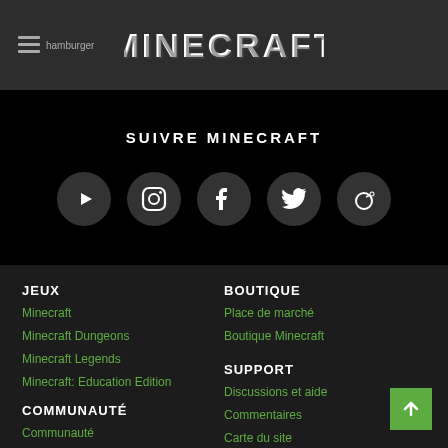[Figure (logo): Minecraft logo with hamburger menu icon in dark top navigation bar]
SUIVRE MINECRAFT
[Figure (infographic): Five social media icons (YouTube, Instagram, Facebook, Twitter, Reddit) as white icons on dark circular backgrounds]
JEUX
Minecraft
Minecraft Dungeons
Minecraft Legends
Minecraft: Education Edition
BOUTIQUE
Place de marché
Boutique Minecraft
SUPPORT
Discussions et aide
Commentaires
Carte du site
COMMUNAUTÉ
Communauté